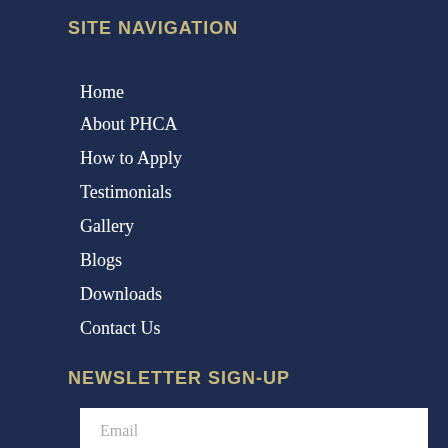SITE NAVIGATION
Home
About PHCA
How to Apply
Testimonials
Gallery
Blogs
Downloads
Contact Us
NEWSLETTER SIGN-UP
Email